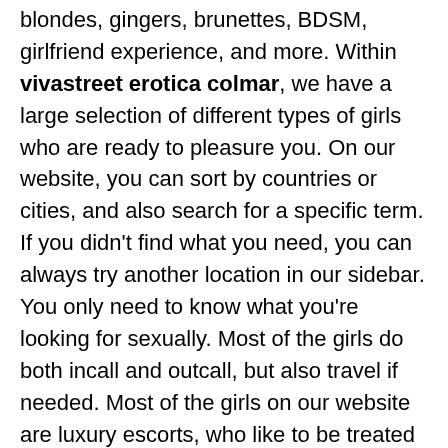blondes, gingers, brunettes, BDSM, girlfriend experience, and more. Within vivastreet erotica colmar, we have a large selection of different types of girls who are ready to pleasure you. On our website, you can sort by countries or cities, and also search for a specific term. If you didn't find what you need, you can always try another location in our sidebar. You only need to know what you're looking for sexually. Most of the girls do both incall and outcall, but also travel if needed. Most of the girls on our website are luxury escorts, who like to be treated well, meanwhile spending time with you.
Escortreal is one of the biggest escort directory in Europe with 1000's girls who would love to meet you. The girls offer a variety of different services and you most likely to find what you are searching for in vivastreet erotica colmar. But always remember to respect the girl you find,